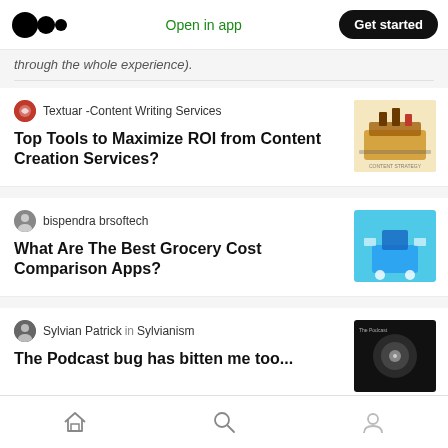Medium logo | Open in app | Get started
through the whole experience).
Textuar -Content Writing Services
Top Tools to Maximize ROI from Content Creation Services?
bispendra brsoftech
What Are The Best Grocery Cost Comparison Apps?
Sylvian Patrick in Sylvianism
The Podcast bug has bitten me too...
Dan Todd
Home | Search | Profile